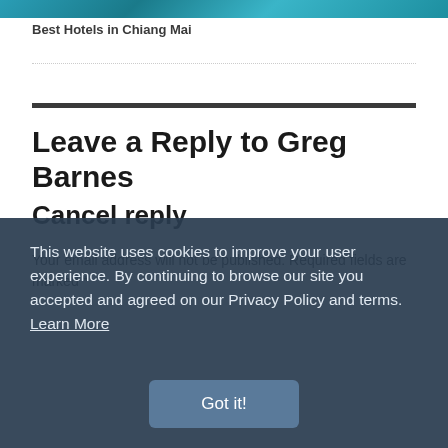[Figure (photo): Teal/turquoise water background image strip at top of page]
Best Hotels in Chiang Mai
Leave a Reply to Greg Barnes
Cancel reply
Your email address will not be published. Required fields are marked *
This website uses cookies to improve your user experience. By continuing to browse our site you accepted and agreed on our Privacy Policy and terms.  Learn More
Got it!